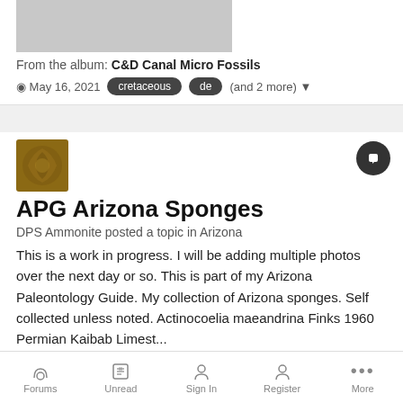[Figure (photo): Partial view of a fossil or rock image, cropped at top]
From the album: C&D Canal Micro Fossils
May 16, 2021  cretaceous  de  (and 2 more)
[Figure (photo): User avatar showing an ammonite fossil]
APG Arizona Sponges
DPS Ammonite posted a topic in Arizona
This is a work in progress. I will be adding multiple photos over the next day or so. This is part of my Arizona Paleontology Guide. My collection of Arizona sponges. Self collected unless noted. Actinocoelia maeandrina Finks 1960 Permian Kaibab Limest...
October 5, 2020   5 replies   9
arizona  porifera  (and 2 more)
Forums  Unread  Sign In  Register  More